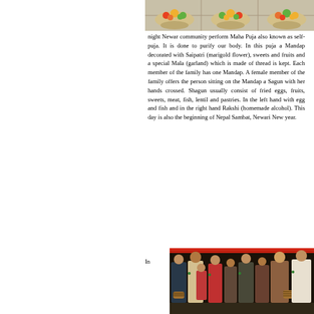[Figure (photo): Photo of bowls of fruits and sweets arranged on a tiled surface, partially visible at top of page]
night Newar community perform Maha Puja also known as self-puja. It is done to purify our body. In this puja a Mandap decorated with Saipatri (marigold flower), sweets and fruits and a special Mala (garland) which is made of thread is kept. Each member of the family has one Mandap. A female member of the family offers the person sitting on the Mandap a Sagun with her hands crossed. Shagun usually consist of fried eggs, fruits, sweets, meat, fish, lentil and pastries. In the left hand with egg and fish and in the right hand Rakshi (homemade alcohol). This day is also the beginning of Nepal Sambat, Newari New year.
In
[Figure (photo): Photo of a group of men playing traditional Newari drums (dhime/madal), wearing casual clothes, with decorative garlands in the background]